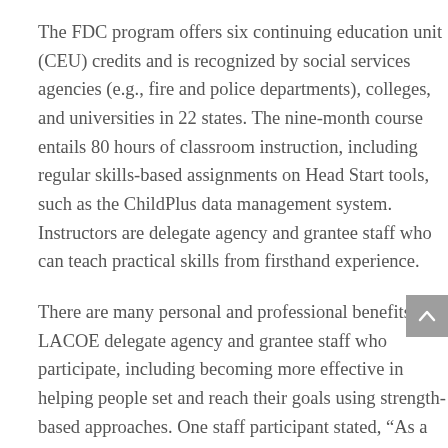The FDC program offers six continuing education unit (CEU) credits and is recognized by social services agencies (e.g., fire and police departments), colleges, and universities in 22 states. The nine-month course entails 80 hours of classroom instruction, including regular skills-based assignments on Head Start tools, such as the ChildPlus data management system. Instructors are delegate agency and grantee staff who can teach practical skills from firsthand experience.
There are many personal and professional benefits for LACOE delegate agency and grantee staff who participate, including becoming more effective in helping people set and reach their goals using strength-based approaches. One staff participant stated, “As a Family Development Advocate, my attitude to challenges becomes a big [key] to my success and effective approach to my job.